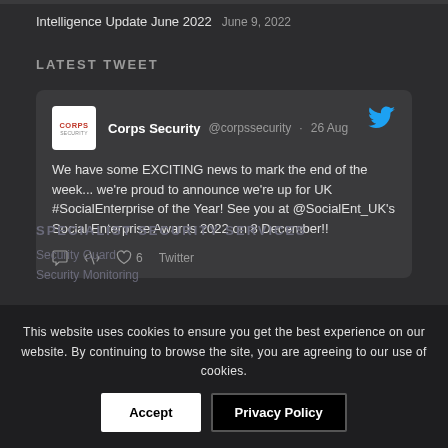Intelligence Update June 2022   June 9, 2022
LATEST TWEET
Corps Security @corpssecurity · 26 Aug
We have some EXCITING news to mark the end of the week... we're proud to announce we're up for UK #SocialEnterprise of the Year! See you at @SocialEnt_UK's Social Enterprise Awards 2022 on 8 December!!
Twitter
This website uses cookies to ensure you get the best experience on our website. By continuing to browse the site, you are agreeing to our use of cookies.
Accept   Privacy Policy
SPECIALIST SECURITY SERVICES
Security Guard
Security Monitoring